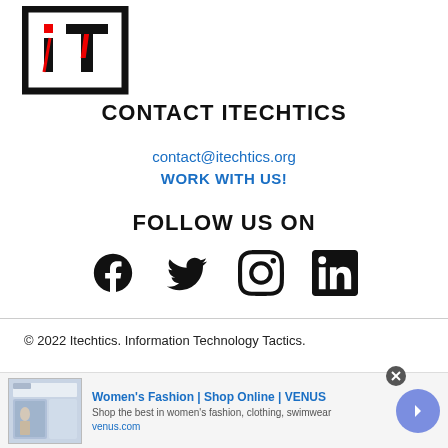[Figure (logo): iTechtics logo: bold black square border with 'iT' letters, 'i' in red/black, 'T' in black with red accent]
CONTACT ITECHTICS
contact@itechtics.org
WORK WITH US!
FOLLOW US ON
[Figure (infographic): Social media icons: Facebook, Twitter, Instagram, LinkedIn - all black]
© 2022 Itechtics. Information Technology Tactics.
[Figure (screenshot): Advertisement banner: Women's Fashion | Shop Online | VENUS - venus.com]